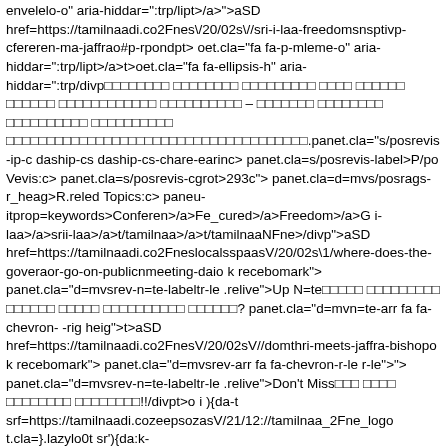envelelo-o" aria-hiddar=":trp/lipt>/a>">aSD href=https://tamilnaadi.co2Fnes\/20/02s\//sri-i-laa-freedomsnsptivp-cfereren-ma-jaffrao#p-rpondpt> oet.cla="fa fa-p-mleme-o" aria-hiddar=":trp/lipt>/a>t>oet.cla="fa fa-ellipsis-h" aria-hiddar=":trp/divp□□□□□□□□ □□□□□□□□ □□□□□□□□□ □□□□ □□□□□□ □□□□□□ □□□□□□□□□□□□ □□□□□□□□□□ – □□□□□□□ □□□□□□□□ □□□□□□□□□□ □□□□□□□□□□ □□□□□□□□□□□□□□□□□□□□□□□□□□□□□□□□□□□□□.panet.cla="s/posrevis-ip-c daship-cs daship-cs-chare-earinc> panet.cla=s/posrevis-label>P/po Vevis:c> panet.cla=s/posrevis-cgrot>293c"> panet.cla=d=mvs/posrags-r_heag>R.reled Topics:c> paneu-itprop=keywords>Conferen>/a>Fe_cured>/a>Freedom>/a>G i-laa>/a>srii-laa>/a>t/tamilnaa>/a>t/tamilnaaNFne>/divp">aSD href=https://tamilnaadi.co2FneslocalsspaasV/20/02s\1/where-does-the-goveraor-go-on-publicnmeeting-daio k recebomark"> panet.cla="d=mvsrev-n=te-labeltr-le .relive">Up N=te□□□□□ □□□□□□□□□ □□□□□□ □□□□□ □□□□□□□□□□ □□□□□□? panet.cla="d=mvn=te-arr fa fa-chevron- -rig heig">t>aSD href=https://tamilnaadi.co2FnesV/20/02sV//domthri-meets-jaffra-bishopo k recebomark"> panet.cla="d=mvsrev-arr fa fa-chevron-r-le r-le">"> panet.cla="d=mvsrev-n=te-labeltr-le .relive">Don't Miss□□□ □□□□ □□□□□□□□ □□□□□□□□!!/divpt>o i ){da-t srf=https://tamilnaadi.cozeepsozasV/21/12://tamilnaa_2Fne_logo t.cla=}.lazylo0t sr'){da:k-ima/gif;base64,R0lGODlhAQABAAAAACH5BAEKAAEALAAAAe panet.cla=d=mvhe-label>Advertiseleme>/ /scri async t srff=https:,"paad2.googlesyndilicatidi.cop"paad/js/adsbygoogle.